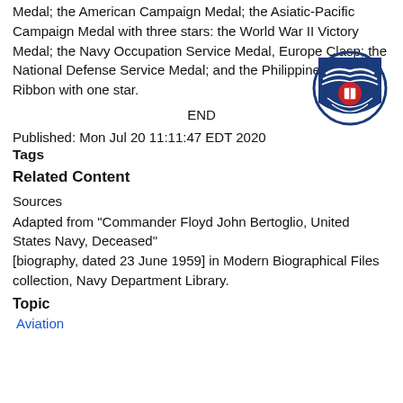Medal; the American Campaign Medal; the Asiatic-Pacific Campaign Medal with three stars: the World War II Victory Medal; the Navy Occupation Service Medal, Europe Clasp; the National Defense Service Medal; and the Philippine Liberation Ribbon with one star.
END
[Figure (logo): Navy Department Library logo: blue shield with eagle and anchor, circular border]
Published: Mon Jul 20 11:11:47 EDT 2020
Tags
Related Content
Sources
Adapted from "Commander Floyd John Bertoglio, United States Navy, Deceased" [biography, dated 23 June 1959] in Modern Biographical Files collection, Navy Department Library.
Topic
Aviation